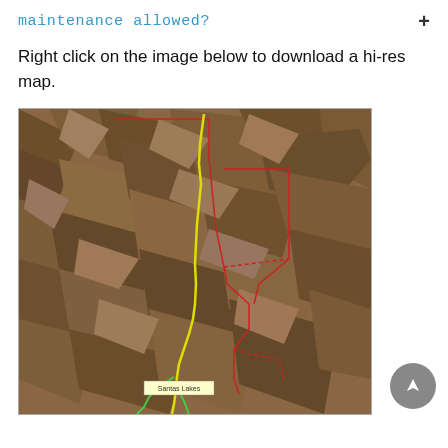maintenance allowed?
Right click on the image below to download a hi-res map.
[Figure (map): Aerial satellite map showing rugged terrain (badlands/hills) with a yellow route line running roughly north-south through the center, a red boundary polygon, and a green line at the southern end, with a label reading 'Santas Lakes' near the bottom.]